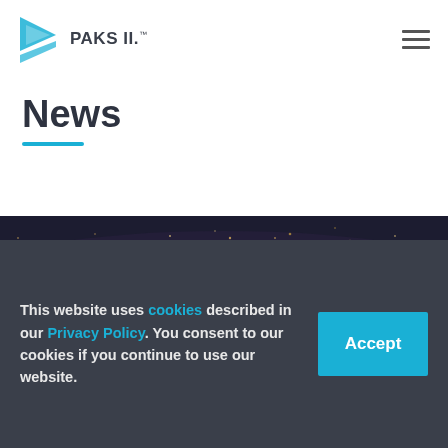PAKS II.
News
[Figure (photo): Nighttime aerial panorama of Budapest with the illuminated Parliament building and a river bridge lit with orange light trails, city lights in the background]
This website uses cookies described in our Privacy Policy. You consent to our cookies if you continue to use our website.